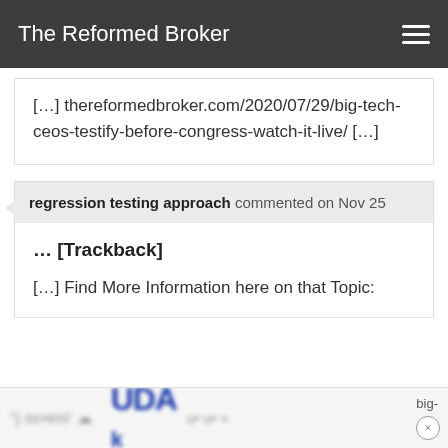The Reformed Broker
[…] thereformedbroker.com/2020/07/29/big-tech-ceos-testify-before-congress-watch-it-live/ […]
regression testing approach commented on Nov 25
… [Trackback]
[…] Find More Information here on that Topic:
[Figure (screenshot): Blurred advertisement banner at bottom of page with partial text 'big-' visible on right side and a close button (×). Blurred text and logo visible.]